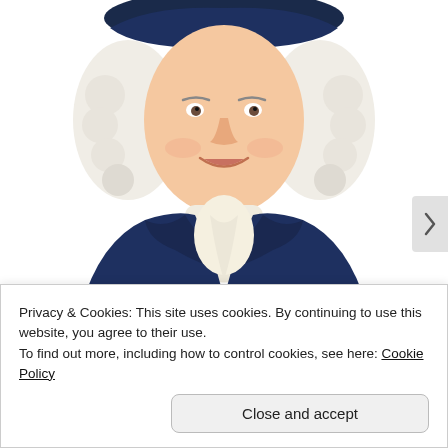[Figure (illustration): Illustrated portrait of a man in colonial/18th-century style clothing — navy blue coat with white ruffled cravat, white powdered wig, and a tricorn hat. The figure is cropped at the torso, smiling, against a white background.]
Almost Nobody Has Passed This Classic Logo Quiz
WarpedSpeed
sponsored by PictureThis
Privacy & Cookies: This site uses cookies. By continuing to use this website, you agree to their use.
To find out more, including how to control cookies, see here: Cookie Policy
Close and accept